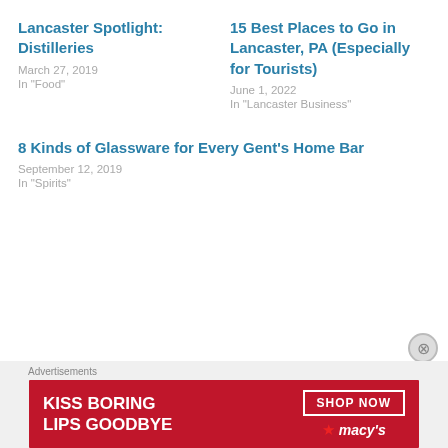Lancaster Spotlight: Distilleries
March 27, 2019
In "Food"
15 Best Places to Go in Lancaster, PA (Especially for Tourists)
June 1, 2022
In "Lancaster Business"
8 Kinds of Glassware for Every Gent's Home Bar
September 12, 2019
In "Spirits"
Advertisements
[Figure (photo): Macy's advertisement banner: KISS BORING LIPS GOODBYE with SHOP NOW button and Macy's star logo]